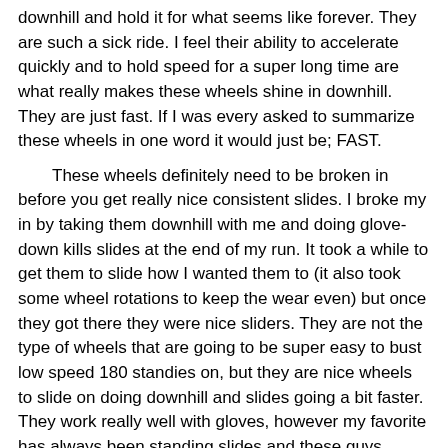downhill and hold it for what seems like forever. They are such a sick ride. I feel their ability to accelerate quickly and to hold speed for a super long time are what really makes these wheels shine in downhill. They are just fast. If I was every asked to summarize these wheels in one word it would just be; FAST.
These wheels definitely need to be broken in before you get really nice consistent slides. I broke my in by taking them downhill with me and doing glove-down kills slides at the end of my run. It took a while to get them to slide how I wanted them to (it also took some wheel rotations to keep the wear even) but once they got there they were nice sliders. They are not the type of wheels that are going to be super easy to bust low speed 180 standies on, but they are nice wheels to slide on doing downhill and slides going a bit faster. They work really well with gloves, however my favorite has always been standing slides and these guys speed check really nicely.
[Figure (photo): Broken image placeholder shown at bottom of page]